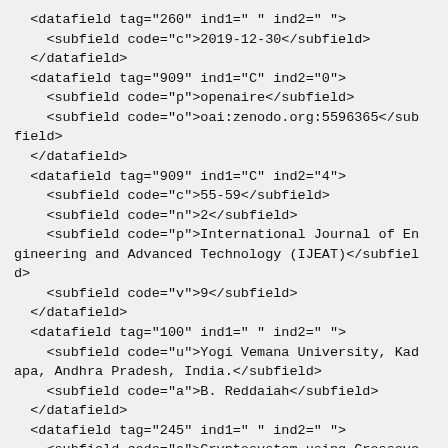<datafield tag="260" ind1=" " ind2=" ">
    <subfield code="c">2019-12-30</subfield>
  </datafield>
  <datafield tag="909" ind1="C" ind2="0">
    <subfield code="p">openaire</subfield>
    <subfield code="o">oai:zenodo.org:5596365</subfield>
  </datafield>
  <datafield tag="909" ind1="C" ind2="4">
    <subfield code="c">55-59</subfield>
    <subfield code="n">2</subfield>
    <subfield code="p">International Journal of Engineering and Advanced Technology (IJEAT)</subfield>
    <subfield code="v">9</subfield>
  </datafield>
  <datafield tag="100" ind1=" " ind2=" ">
    <subfield code="u">Yogi Vemana University, Kadapa, Andhra Pradesh, India.</subfield>
    <subfield code="a">B. Reddaiah</subfield>
  </datafield>
  <datafield tag="245" ind1=" " ind2=" ">
    <subfield code="a">Cryptosystem using Crossover Function and  Logical Operators</subfield>